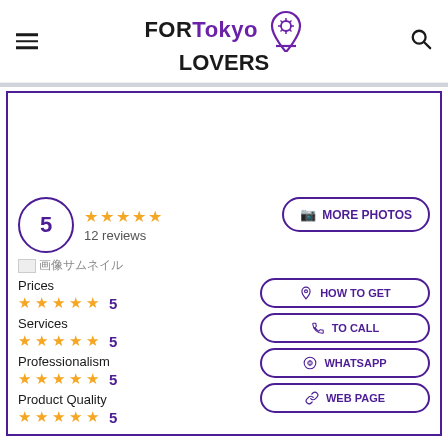FORTokyo LOVERS
5 ★★★★★ 12 reviews
MORE PHOTOS
Prices ★★★★★ 5
Services ★★★★★ 5
Professionalism ★★★★★ 5
Product Quality ★★★★★ 5
HOW TO GET
TO CALL
WHATSAPP
WEB PAGE